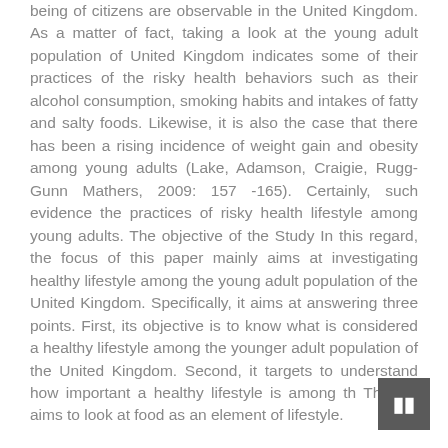being of citizens are observable in the United Kingdom. As a matter of fact, taking a look at the young adult population of United Kingdom indicates some of their practices of the risky health behaviors such as their alcohol consumption, smoking habits and intakes of fatty and salty foods. Likewise, it is also the case that there has been a rising incidence of weight gain and obesity among young adults (Lake, Adamson, Craigie, Rugg-Gunn Mathers, 2009: 157 -165). Certainly, such evidence the practices of risky health lifestyle among young adults. The objective of the Study In this regard, the focus of this paper mainly aims at investigating healthy lifestyle among the young adult population of the United Kingdom. Specifically, it aims at answering three points. First, its objective is to know what is considered a healthy lifestyle among the younger adult population of the United Kingdom. Second, it targets to understand how important a healthy lifestyle is among th Third, it aims to look at food as an element of lifestyle.